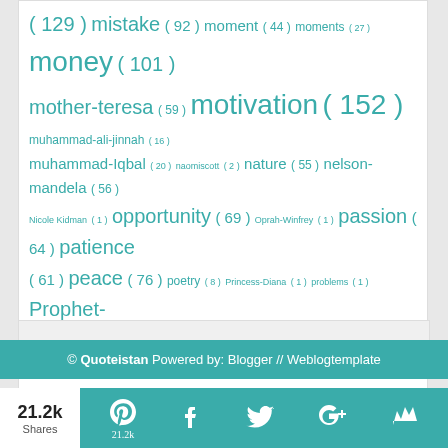[Figure (infographic): Tag cloud listing topics with frequency counts, various font sizes indicating popularity. Tags include: mistake (129), mistake (92), moment (44), moments (27), money (101), mother-teresa (59), motivation (152), muhammad-ali-jinnah (16), muhammad-Iqbal (20), naomiscott (2), nature (55), nelson-mandela (56), Nicole Kidman (1), opportunity (69), Oprah-Winfrey (1), passion (64), patience (61), peace (76), poetry (8), Princess-Diana (1), problems (1), Prophet-Muhammad(saw) (38), quote-of-the-day (1090), rejection (64), relationship (100), respect (2), Robert Downey Jr (1), robert-jordan (11), romance (29), sacrifice (57), sadness (64), Scarlett Johansson (1), science (33), Selena-Gomez (1), shakira (1), silence (76), smile (93), startups (2), Steve-Harvey (1), steve-jobs (1), stories (9), strength (124), struggle (1), success (147), Sushant-Singh-Rajput (1), talk (78), tears (72), Thomas-Edison (1), thoughts (101), time (149), tom cruise (1), Tom-Holland (1), trust (88), truth (86), video (106), warren buffet (1), weed (52), William Shakespeare (36), winner (70), wisdom (109), words (95), work (1), ZaynMalik (1), Zendaya (1)]
© Quoteistan Powered by: Blogger // Weblogtemplate
21.2k Shares